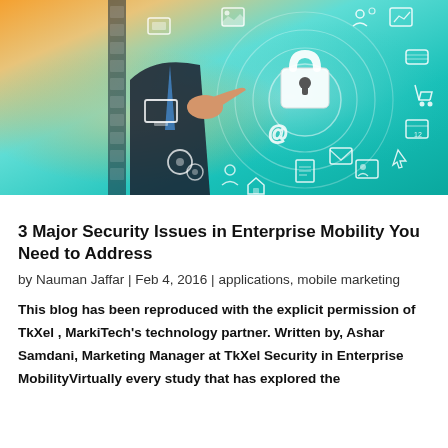[Figure (photo): Hero image of a person in a suit pointing at a digital security interface with a padlock icon and various technology/app icons on a teal/turquoise glowing background]
3 Major Security Issues in Enterprise Mobility You Need to Address
by Nauman Jaffar | Feb 4, 2016 | applications, mobile marketing
This blog has been reproduced with the explicit permission of TkXel , MarkiTech's technology partner. Written by, Ashar Samdani, Marketing Manager at TkXel Security in Enterprise MobilityVirtually every study that has explored the